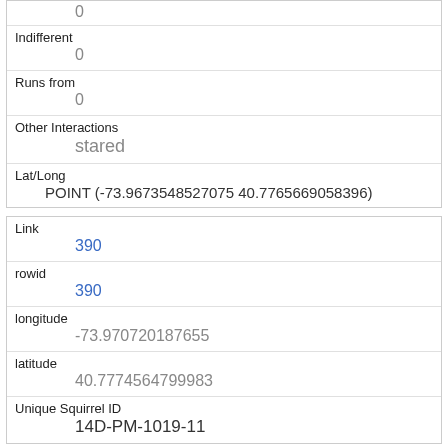|  | 0 |
| Indifferent | 0 |
| Runs from | 0 |
| Other Interactions | stared |
| Lat/Long | POINT (-73.9673548527075 40.7765669058396) |
| Link | 390 |
| rowid | 390 |
| longitude | -73.970720187655 |
| latitude | 40.7774564799983 |
| Unique Squirrel ID | 14D-PM-1019-11 |